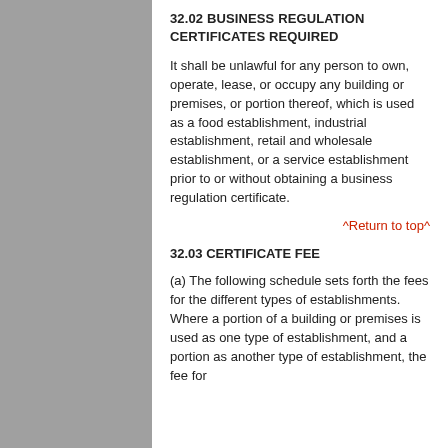32.02 BUSINESS REGULATION CERTIFICATES REQUIRED
It shall be unlawful for any person to own, operate, lease, or occupy any building or premises, or portion thereof, which is used as a food establishment, industrial establishment, retail and wholesale establishment, or a service establishment prior to or without obtaining a business regulation certificate.
^Return to top^
32.03 CERTIFICATE FEE
(a) The following schedule sets forth the fees for the different types of establishments. Where a portion of a building or premises is used as one type of establishment, and a portion as another type of establishment, the fee for